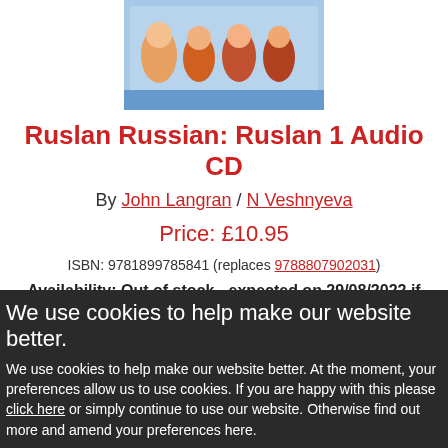[Figure (illustration): Book cover image for Ruslan Russian showing cartoon characters in colorful costumes on a light blue background]
Ruslan Russian: Ruslan 1 Audio CD
By John Langran / N Veshnyeva
Price: £10.95
ISBN: 9781899785841 (replaces 9788807902031)
Availability: Out of stock - expected on 29/08/2022 if you order today
We use cookies to help make our website better.
We use cookies to help make our website better. At the moment, your preferences allow us to use cookies. If you are happy with this please click here or simply continue to use our website. Otherwise find out more and amend your preferences here.